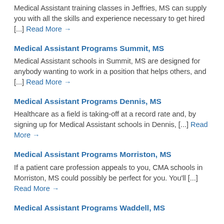Medical Assistant training classes in Jeffries, MS can supply you with all the skills and experience necessary to get hired [...] Read More →
Medical Assistant Programs Summit, MS
Medical Assistant schools in Summit, MS are designed for anybody wanting to work in a position that helps others, and [...] Read More →
Medical Assistant Programs Dennis, MS
Healthcare as a field is taking-off at a record rate and, by signing up for Medical Assistant schools in Dennis, [...] Read More →
Medical Assistant Programs Morriston, MS
If a patient care profession appeals to you, CMA schools in Morriston, MS could possibly be perfect for you. You'll [...] Read More →
Medical Assistant Programs Waddell, MS